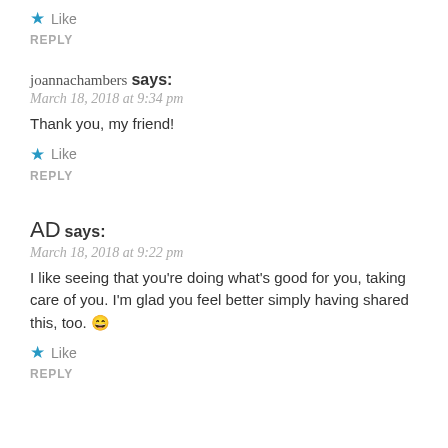★ Like
REPLY
joannachambers says:
March 18, 2018 at 9:34 pm
Thank you, my friend!
★ Like
REPLY
AD says:
March 18, 2018 at 9:22 pm
I like seeing that you're doing what's good for you, taking care of you. I'm glad you feel better simply having shared this, too. 😄
★ Like
REPLY